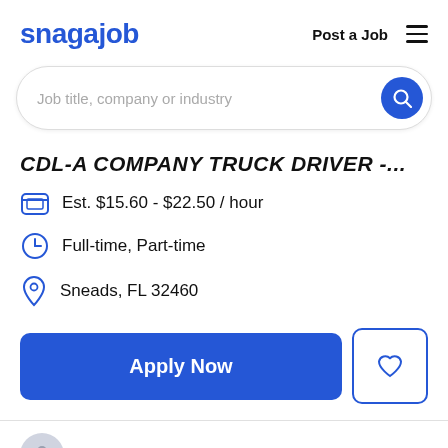snagajob  Post a Job ☰
Job title, company or industry
CDL-A COMPANY TRUCK DRIVER -...
Est. $15.60 - $22.50 / hour
Full-time, Part-time
Sneads, FL 32460
Apply Now